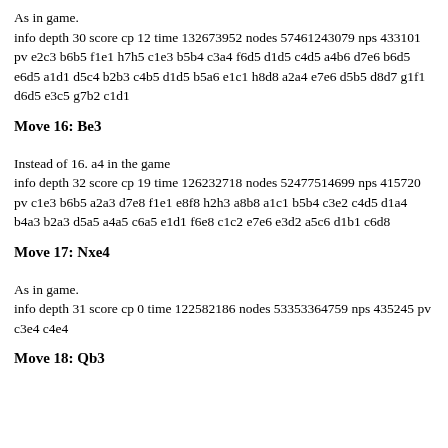As in game.
info depth 30 score cp 12 time 132673952 nodes 57461243079 nps 433101 pv e2c3 b6b5 f1e1 h7h5 c1e3 b5b4 c3a4 f6d5 d1d5 c4d5 a4b6 d7e6 b6d5 e6d5 a1d1 d5c4 b2b3 c4b5 d1d5 b5a6 e1c1 h8d8 a2a4 e7e6 d5b5 d8d7 g1f1 d6d5 e3c5 g7b2 c1d1
Move 16: Be3
Instead of 16. a4 in the game
info depth 32 score cp 19 time 126232718 nodes 52477514699 nps 415720 pv c1e3 b6b5 a2a3 d7e8 f1e1 e8f8 h2h3 a8b8 a1c1 b5b4 c3e2 c4d5 d1a4 b4a3 b2a3 d5a5 a4a5 c6a5 e1d1 f6e8 c1c2 e7e6 e3d2 a5c6 d1b1 c6d8
Move 17: Nxe4
As in game.
info depth 31 score cp 0 time 122582186 nodes 53353364759 nps 435245 pv c3e4 c4e4
Move 18: Qb3